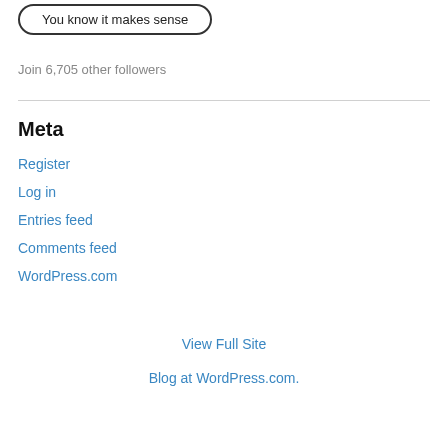[Figure (other): Button with rounded border labeled 'You know it makes sense']
Join 6,705 other followers
Meta
Register
Log in
Entries feed
Comments feed
WordPress.com
View Full Site
Blog at WordPress.com.